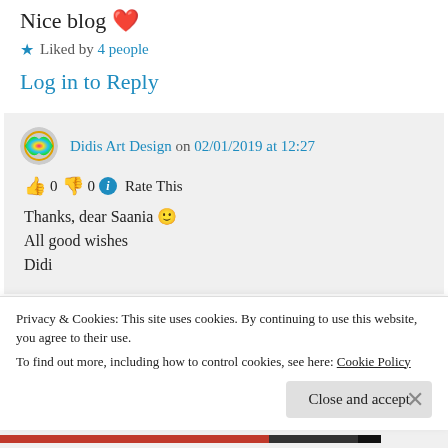Nice blog ❤️
★ Liked by 4 people
Log in to Reply
Didis Art Design on 02/01/2019 at 12:27
👍 0 👎 0 ℹ Rate This
Thanks, dear Saania 🙂
All good wishes
Didi
Privacy & Cookies: This site uses cookies. By continuing to use this website, you agree to their use.
To find out more, including how to control cookies, see here: Cookie Policy
Close and accept